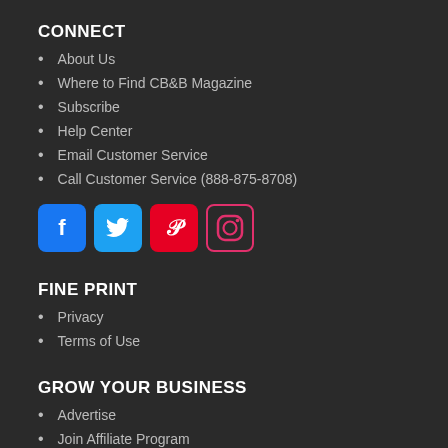CONNECT
About Us
Where to Find CB&B Magazine
Subscribe
Help Center
Email Customer Service
Call Customer Service (888-875-8708)
[Figure (infographic): Social media icons: Facebook (blue), Twitter (light blue), Pinterest (red), Instagram (pink border)]
FINE PRINT
Privacy
Terms of Use
GROW YOUR BUSINESS
Advertise
Join Affiliate Program